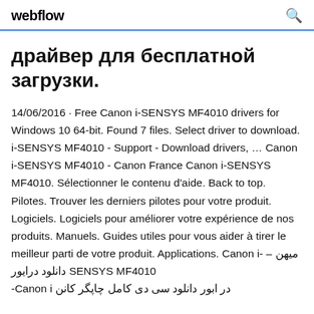webflow
драйвер для бесплатной загрузки.
14/06/2016 · Free Canon i-SENSYS MF4010 drivers for Windows 10 64-bit. Found 7 files. Select driver to download. i-SENSYS MF4010 - Support - Download drivers, … Canon i-SENSYS MF4010 - Canon France Canon i-SENSYS MF4010. Sélectionner le contenu d'aide. Back to top. Pilotes. Trouver les derniers pilotes pour votre produit. Logiciels. Logiciels pour améliorer votre expérience de nos produits. Manuels. Guides utiles pour vous aider à tirer le meilleur parti de votre produit. Applications. میهن – Canon i-SENSYS MF4010 دانلود درایور در ابور دانلود سی دی کامل چاپگر کانن Canon i-